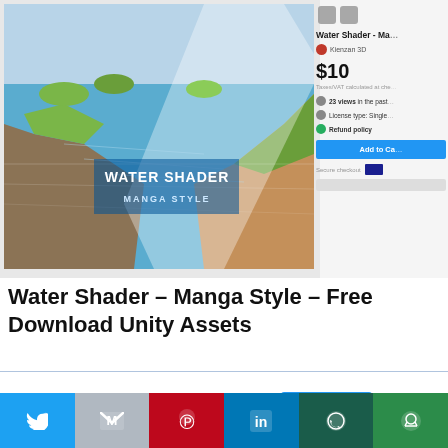[Figure (screenshot): Screenshot of a Unity Asset Store product page for 'Water Shader - Manga Style'. Left side shows a 3D rendered water scene with manga-style shading and 'WATER SHADER MANGA STYLE' text overlay. Right side shows product details: title 'Water Shader - Ma...', seller 'Kienzan 3D', price '$10', tax note 'Taxes/VAT calculated at che...', 23 views in the past..., License type: Single..., Refund policy, Add to Cart button, Secure checkout with Visa icon.]
Water Shader – Manga Style – Free Download Unity Assets
This website uses cookies.
Accept